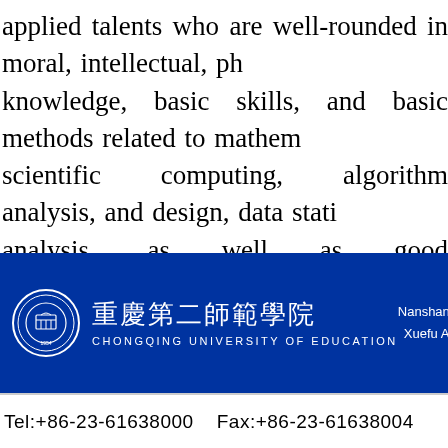applied talents who are well-rounded in moral, intellectual, ph knowledge, basic skills, and basic methods related to mathem scientific computing, algorithm analysis, and design, data stati analysis, as well as good professionalism, and are capable o technology, education, information industry, and other related analyze problems, to build models, to apply software and to b units, colleges and universities, enterprise groups, computin engage in scientific computing and software development, sys
[Figure (logo): Chongqing University of Education logo with circular emblem, Chinese characters 重慶第二師範學院, and English name CHONGQING UNIVERSITY OF EDUCATION on blue background with address Nanshan Ca... Xuefu Aven...]
Tel:+86-23-61638000    Fax:+86-23-61638004